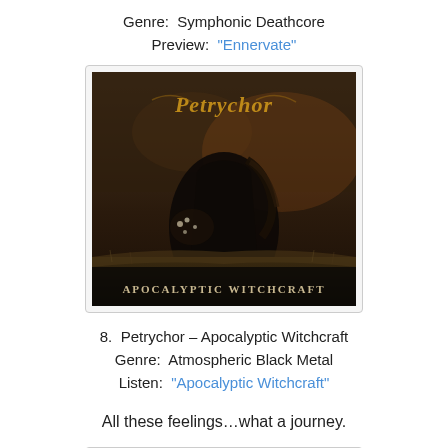Genre:  Symphonic Deathcore
Preview:  "Ennervate"
[Figure (photo): Album cover for Petrychor - Apocalyptic Witchcraft. Dark atmospheric image showing a figure in black among flowers and grass with golden fantasy-style logo text 'Petrychor' at top and 'Apocalyptic Witchcraft' at bottom.]
8.  Petrychor – Apocalyptic Witchcraft
Genre:  Atmospheric Black Metal
Listen:  "Apocalyptic Witchcraft"
All these feelings…what a journey.
[Figure (photo): Partially visible album cover at the bottom of the page, showing purple/pink and grey smoky or misty imagery.]